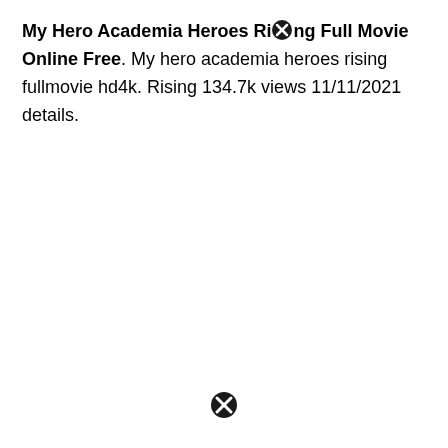My Hero Academia Heroes Rising Full Movie Online Free. My hero academia heroes rising fullmovie hd4k. Rising 134.7k views 11/11/2021 details.